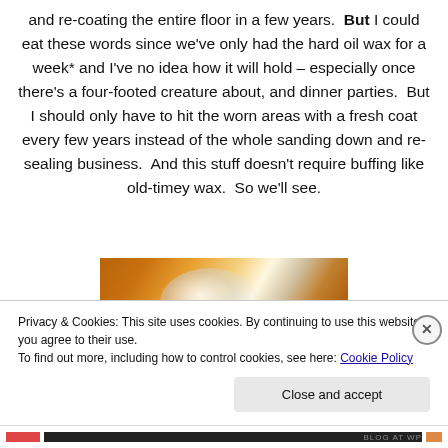and re-coating the entire floor in a few years. But I could eat these words since we've only had the hard oil wax for a week* and I've no idea how it will hold – especially once there's a four-footed creature about, and dinner parties. But I should only have to hit the worn areas with a fresh coat every few years instead of the whole sanding down and re-sealing business. And this stuff doesn't require buffing like old-timey wax. So we'll see.
[Figure (photo): Close-up photo of a hardwood floor with warm brown tones and a bright light sheen/reflection in the center-left area]
Privacy & Cookies: This site uses cookies. By continuing to use this website, you agree to their use.
To find out more, including how to control cookies, see here: Cookie Policy